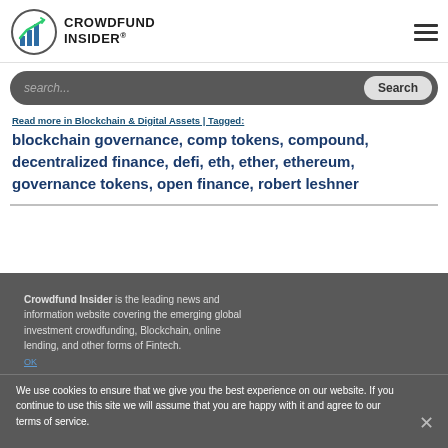CROWDFUND INSIDER
search...
Read more in Blockchain & Digital Assets | Tagged: blockchain governance, comp tokens, compound, decentralized finance, defi, eth, ether, ethereum, governance tokens, open finance, robert leshner
We use cookies to ensure that we give you the best experience on our website. If you continue to use this site we will assume that you are happy with it and agree to our terms of service.
Crowdfund Insider is the leading news and information website covering the emerging global investment crowdfunding, Blockchain, online lending, and other forms of Fintech.